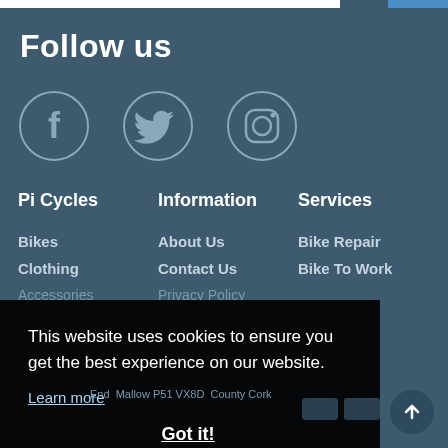Follow us
[Figure (illustration): Three social media icons in circles: Facebook (f), Twitter (bird), Instagram (camera outline), on a dark blue background]
Pi Cycles
Information
Services
Bikes
Clothing
Accessories
About Us
Contact Us
Privacy Policy
Bike Repair
Bike To Work
This website uses cookies to ensure you get the best experience on our website.
Learn more
Got it!
End  Mallow P51 VX8D  County Cork